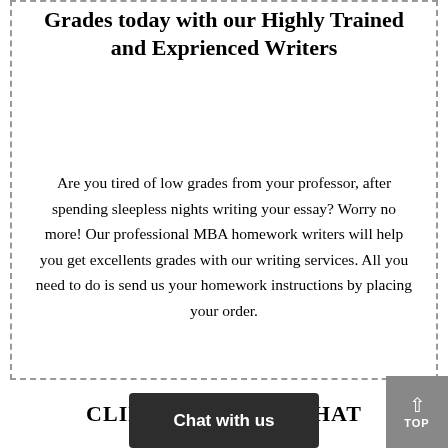Grades today with our Highly Trained and Exprienced Writers
Are you tired of low grades from your professor, after spending sleepless nights writing your essay? Worry no more! Our professional MBA homework writers will help you get excellents grades with our writing services. All you need to do is send us your homework instructions by placing your order.
CLIE... THAT